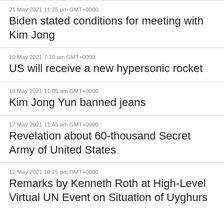21 May 2021 11:25 pm GMT+0000
Biden stated conditions for meeting with Kim Jong
19 May 2021 7:10 am GMT+0000
US will receive a new hypersonic rocket
18 May 2021 11:05 am GMT+0000
Kim Jong Yun banned jeans
17 May 2021 11:45 am GMT+0000
Revelation about 60-thousand Secret Army of United States
12 May 2021 10:25 pm GMT+0000
Remarks by Kenneth Roth at High-Level Virtual UN Event on Situation of Uyghurs